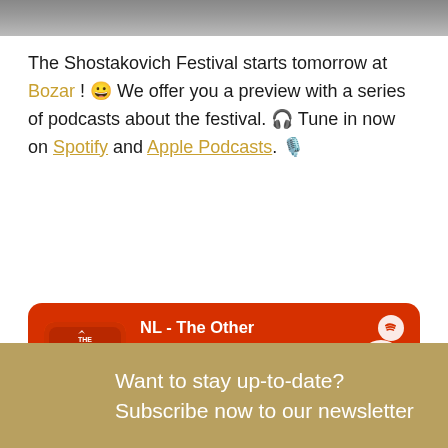[Figure (photo): Top image banner showing a textured grey/brown surface]
The Shostakovich Festival starts tomorrow at Bozar ! 😀 We offer you a preview with a series of podcasts about the festival. 🎧 Tune in now on Spotify and Apple Podcasts. 🎙️
[Figure (screenshot): Spotify podcast card: NL - The Other Revolutionary, Feb 21 · BNO Podcasts, 32:18, red background with album art and play button]
Want to stay up-to-date?
Subscribe now to our newsletter